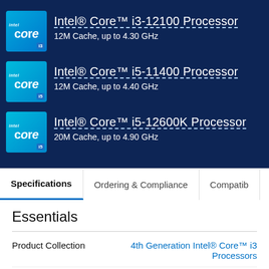Intel® Core™ i3-12100 Processor — 12M Cache, up to 4.30 GHz
Intel® Core™ i5-11400 Processor — 12M Cache, up to 4.40 GHz
Intel® Core™ i5-12600K Processor — 20M Cache, up to 4.90 GHz
Specifications | Ordering & Compliance | Compatib
Essentials
Product Collection — 4th Generation Intel® Core™ i3 Processors
Code Name — Products formerly Haswell